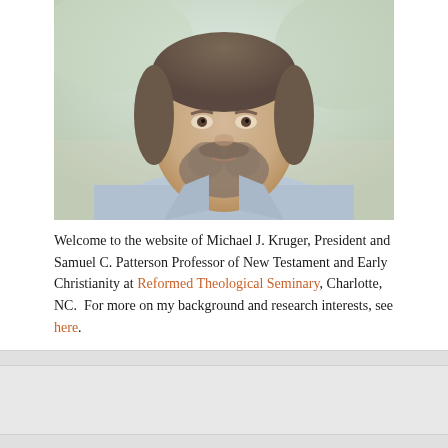[Figure (photo): Head and shoulders portrait photo of Michael J. Kruger, a middle-aged man with a beard wearing a light blue checkered blazer, photographed outdoors with a blurred background.]
Welcome to the website of Michael J. Kruger, President and Samuel C. Patterson Professor of New Testament and Early Christianity at Reformed Theological Seminary, Charlotte, NC.  For more on my background and research interests, see here.
SOCIAL MEDIA